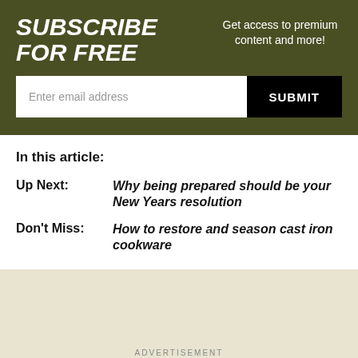Subscribe for Free
Get access to premium content and more!
Enter email address
SUBMIT
In this article:
Up Next: Why being prepared should be your New Years resolution
Don't Miss: How to restore and season cast iron cookware
ADVERTISEMENT